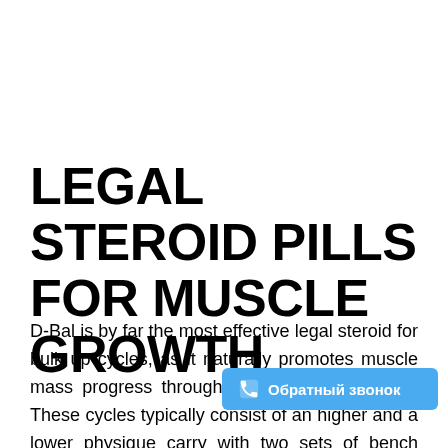LEGAL STEROID PILLS FOR MUSCLE GROWTH
D-Bal is by far the most effective legal steroid for bulk up cycles, as it naturally promotes muscle mass progress through increased nitrogenuse. These cycles typically consist of an higher and a lower physique carry with two sets of bench of overhead pressing. The two lifts are often carried out between 60 and 65 % of one another, best legal